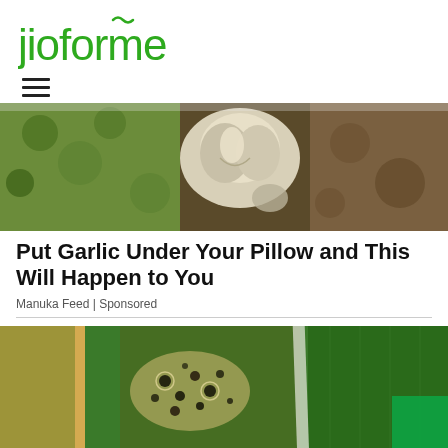[Figure (logo): jioforme logo in green text with tilde accent above the 'f']
[Figure (other): Hamburger menu icon (three horizontal lines)]
[Figure (photo): Close-up photo of garlic bulb held in hands wearing green gloves against a textured brown background]
Put Garlic Under Your Pillow and This Will Happen to You
Manuka Feed | Sponsored
[Figure (photo): Close-up photo of a plant leaf with dark spots and disease markings, with a blue-green background color bar at bottom]
[Figure (other): Social share bar with four colored sections: blue (Facebook), light blue (Twitter), green (WhatsApp), dark blue (LinkedIn)]